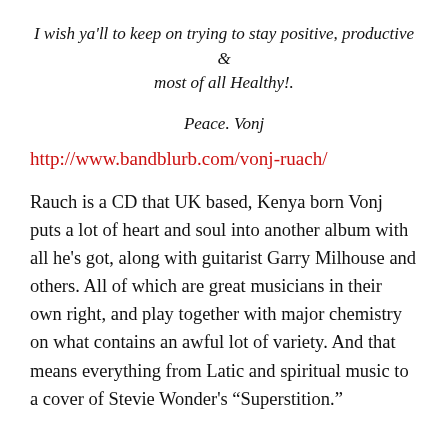I wish ya'll to keep on trying to stay positive, productive & most of all Healthy!.
Peace. Vonj
http://www.bandblurb.com/vonj-ruach/
Rauch is a CD that UK based, Kenya born Vonj puts a lot of heart and soul into another album with all he's got, along with guitarist Garry Milhouse and others. All of which are great musicians in their own right, and play together with major chemistry on what contains an awful lot of variety. And that means everything from Latic and spiritual music to a cover of Stevie Wonder's “Superstition.”